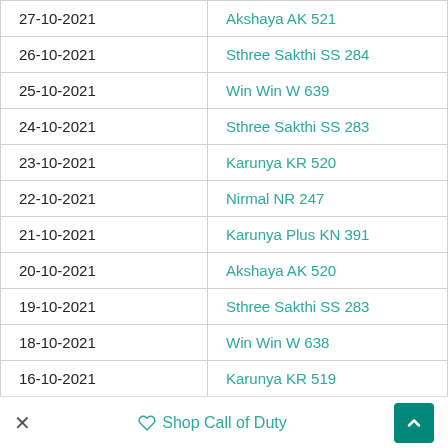| Date | Lottery Name |
| --- | --- |
| 27-10-2021 | Akshaya AK 521 |
| 26-10-2021 | Sthree Sakthi SS 284 |
| 25-10-2021 | Win Win W 639 |
| 24-10-2021 | Sthree Sakthi SS 283 |
| 23-10-2021 | Karunya KR 520 |
| 22-10-2021 | Nirmal NR 247 |
| 21-10-2021 | Karunya Plus KN 391 |
| 20-10-2021 | Akshaya AK 520 |
| 19-10-2021 | Sthree Sakthi SS 283 |
| 18-10-2021 | Win Win W 638 |
| 16-10-2021 | Karunya KR 519 |
| 15-10-2021 | Nirmal NR 246 |
| 14-10-2021 | Karunya Plus KN 390 |
| 13-10-2021 | Akshaya AK 519 |
× Shop Call of Duty ▲